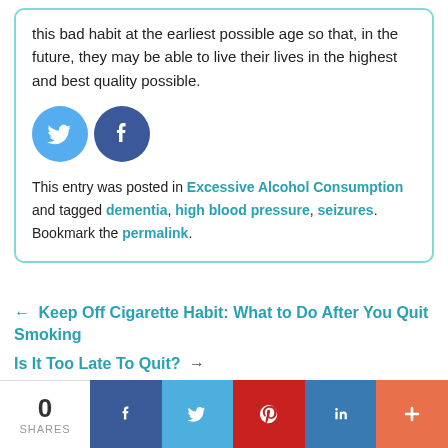this bad habit at the earliest possible age so that, in the future, they may be able to live their lives in the highest and best quality possible.
[Figure (illustration): Twitter bird icon (light blue circle) and Facebook 'f' icon (dark blue circle) side by side as social sharing buttons.]
This entry was posted in Excessive Alcohol Consumption and tagged dementia, high blood pressure, seizures. Bookmark the permalink.
← Keep Off Cigarette Habit: What to Do After You Quit Smoking
Is It Too Late To Quit? →
0 SHARES